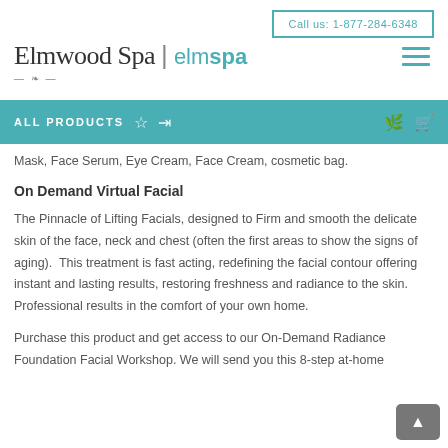Call us: 1-877-284-6348
[Figure (logo): Elmwood Spa | elmspa logo with decorative element and hamburger menu icon]
ALL PRODUCTS
Mask, Face Serum, Eye Cream, Face Cream, cosmetic bag.
On Demand Virtual Facial
The Pinnacle of Lifting Facials, designed to Firm and smooth the delicate skin of the face, neck and chest (often the first areas to show the signs of aging).  This treatment is fast acting, redefining the facial contour offering instant and lasting results, restoring freshness and radiance to the skin. Professional results in the comfort of your own home.
Purchase this product and get access to our On-Demand Radiance Foundation Facial Workshop. We will send you this 8-step at-home